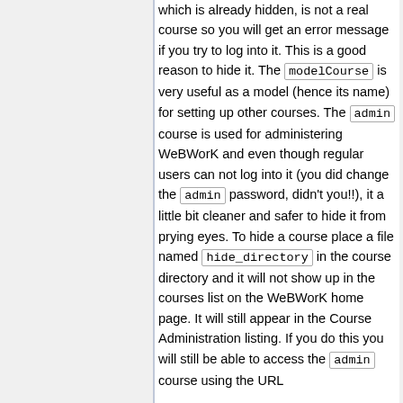which is already hidden, is not a real course so you will get an error message if you try to log into it. This is a good reason to hide it. The modelCourse is very useful as a model (hence its name) for setting up other courses. The admin course is used for administering WeBWorK and even though regular users can not log into it (you did change the admin password, didn't you!!), it a little bit cleaner and safer to hide it from prying eyes. To hide a course place a file named hide_directory in the course directory and it will not show up in the courses list on the WeBWorK home page. It will still appear in the Course Administration listing. If you do this you will still be able to access the admin course using the URL